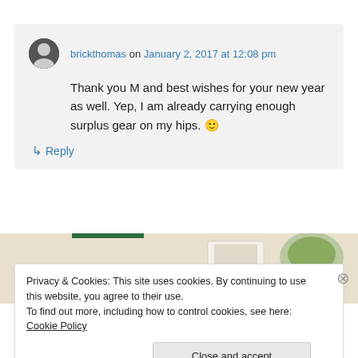brickthomas on January 2, 2017 at 12:08 pm
Thank you M and best wishes for your new year as well. Yep, I am already carrying enough surplus gear on my hips. 🙂
↳ Reply
[Figure (photo): Advertisement banner with food/cookbook images and a green bar]
Privacy & Cookies: This site uses cookies. By continuing to use this website, you agree to their use.
To find out more, including how to control cookies, see here: Cookie Policy
Close and accept